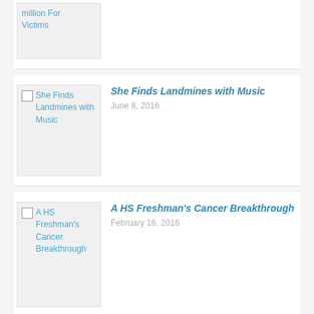[Figure (other): Thumbnail image placeholder with alt text 'million For Victims']
million For Victims
[Figure (other): Thumbnail image placeholder with alt text 'She Finds Landmines with Music']
She Finds Landmines with Music
June 8, 2016
[Figure (other): Thumbnail image placeholder with alt text 'A HS Freshman's Cancer Breakthrough']
A HS Freshman's Cancer Breakthrough
February 16, 2016
[Figure (other): Thumbnail image placeholder with alt text 'Making Lemonade and Hope from Lemons']
Making Lemonade and Hope from Lemons
June 25, 2015